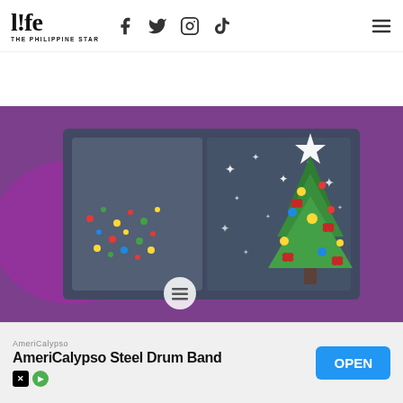life THE PHILIPPINE STAR
[Figure (photo): Screenshot of a Christmas-themed mobile app or game showing a decorated Christmas tree on a purple background with colorful lights and star ornaments, alongside a dark panel with star/sparkle effects.]
[Figure (other): Advertisement banner for AmeriCalypso Steel Drum Band app with an OPEN button]